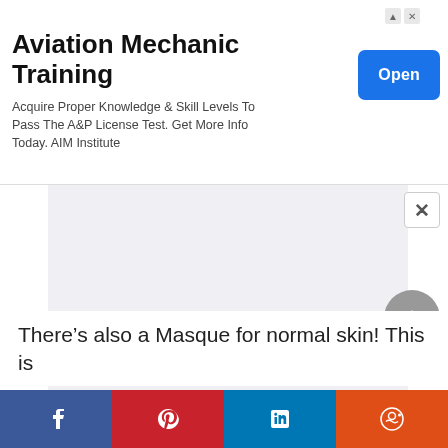[Figure (screenshot): Advertisement banner for Aviation Mechanic Training with title, description text, and a blue Open button]
Aviation Mechanic Training
Acquire Proper Knowledge & Skill Levels To Pass The A&P License Test. Get More Info Today. AIM Institute
[Figure (other): Gray rectangular content area with a close (X) button in top right corner]
There’s also a Masque for normal skin! This is
[Figure (other): Social sharing bar with Facebook, Pinterest, LinkedIn, and Reddit buttons]